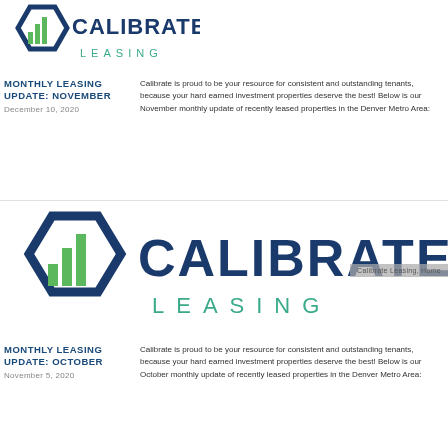[Figure (logo): Calibrate Leasing logo — hexagon C with green bar chart bars, dark navy text CALIBRATE in large caps, LEASING in spaced teal caps below]
MONTHLY LEASING UPDATE: NOVEMBER
December 10, 2020
Calibrate is proud to be your resource for consistent and outstanding tenants, because your hard earned investment properties deserve the best! Below is our November monthly update of recently leased properties in the Denver Metro Area:
[Figure (logo): Calibrate Leasing logo — hexagon C with green bar chart bars, dark navy text CALIBRATE in large caps, LEASING in spaced teal caps below]
Calibrate Leasing, Home
MONTHLY LEASING UPDATE: OCTOBER
November 5, 2020
Calibrate is proud to be your resource for consistent and outstanding tenants, because your hard earned investment properties deserve the best! Below is our October monthly update of recently leased properties in the Denver Metro Area: